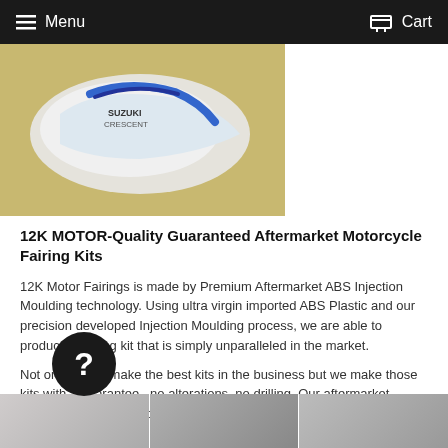Menu   Cart
[Figure (photo): Photo of a Suzuki motorcycle fairing kit (white and blue) on a beige background]
12K MOTOR-Quality Guaranteed Aftermarket Motorcycle Fairing Kits
12K Motor Fairings is made by Premium Aftermarket ABS Injection Moulding technology. Using ultra virgin imported ABS Plastic and our precision developed Injection Moulding process, we are able to produce a fairing kit that is simply unparalleled in the market.
Not only do we make the best kits in the business but we make those kits with a guarantee., no alterations, no drilling. Our aftermarket fairings will slip onto your motorbike just as easily as your OEM ones slipped off.
[Figure (photo): Bottom strip showing multiple photos of motorcycle fairing kits in a warehouse/storage setting]